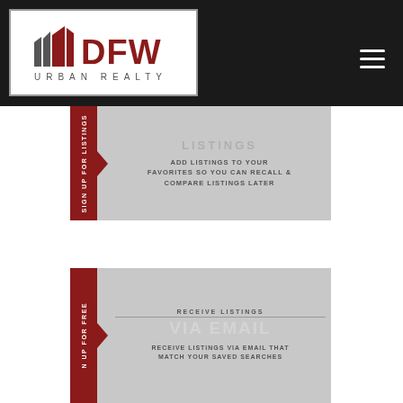[Figure (logo): DFW Urban Realty logo — red and gray abstract building/flag shapes with text 'DFW URBAN REALTY']
[Figure (infographic): Sign up for listings banner — dark red sidebar with 'SIGN UP FOR LISTINGS' vertical text, arrow pointer, gray panel with 'LISTINGS' heading and 'ADD LISTINGS TO YOUR FAVORITES SO YOU CAN RECALL & COMPARE LISTINGS LATER']
[Figure (infographic): Sign up for free banner — dark red sidebar with vertical text, arrow pointer, gray panel with 'RECEIVE LISTINGS VIA EMAIL' heading and 'RECEIVE LISTINGS VIA EMAIL THAT MATCH YOUR SAVED SEARCHES']